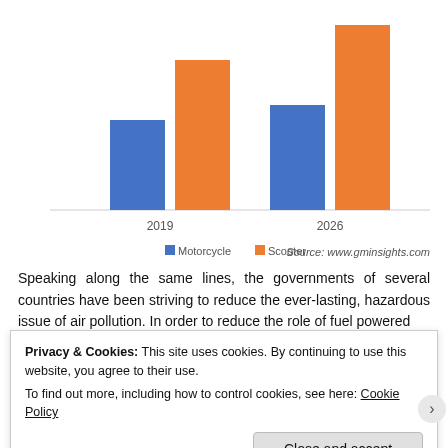[Figure (grouped-bar-chart): ]
Source: www.gminsights.com
Speaking along the same lines, the governments of several countries have been striving to reduce the ever-lasting, hazardous issue of air pollution. In order to reduce the role of fuel powered
Privacy & Cookies: This site uses cookies. By continuing to use this website, you agree to their use.
To find out more, including how to control cookies, see here: Cookie Policy